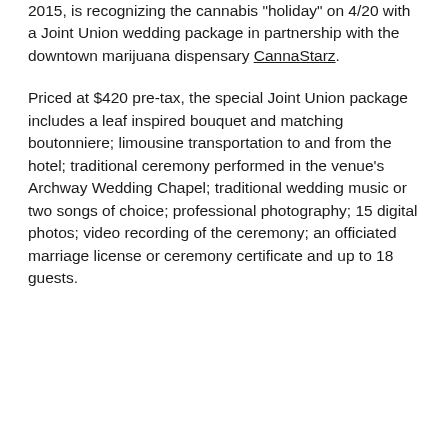2015, is recognizing the cannabis 'holiday' on 4/20 with a Joint Union wedding package in partnership with the downtown marijuana dispensary CannaStarz.
Priced at $420 pre-tax, the special Joint Union package includes a leaf inspired bouquet and matching boutonniere; limousine transportation to and from the hotel; traditional ceremony performed in the venue's Archway Wedding Chapel; traditional wedding music or two songs of choice; professional photography; 15 digital photos; video recording of the ceremony; an officiated marriage license or ceremony certificate and up to 18 guests.